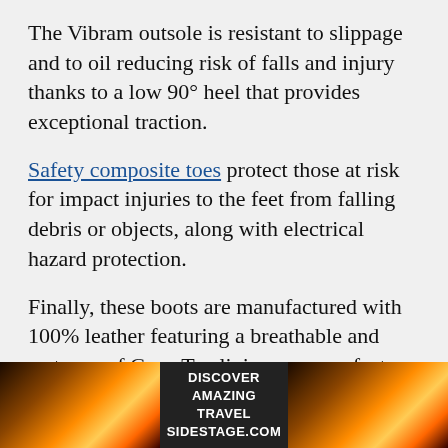The Vibram outsole is resistant to slippage and to oil reducing risk of falls and injury thanks to a low 90° heel that provides exceptional traction.
Safety composite toes protect those at risk for impact injuries to the feet from falling debris or objects, along with electrical hazard protection.
Finally, these boots are manufactured with 100% leather featuring a breathable and waterproof Gore-Tex lining, so your feet will be dry and comfortable for your entire work shift. Sweaty, uncomfortable feet can cause you to modify your gait and stress those knees as a result.
Both toes and heels are resistant to abrasion. These work boots afford great support, are incredibly
[Figure (infographic): Advertisement banner: sunset/mountain landscape images on left and right, center dark background with text 'DISCOVER AMAZING TRAVEL SIDESTAGE.COM' in white bold uppercase letters]